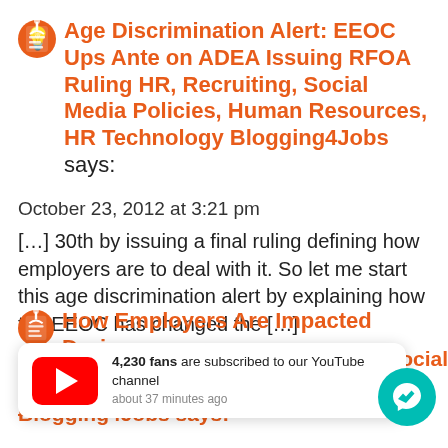Age Discrimination Alert: EEOC Ups Ante on ADEA Issuing RFOA Ruling HR, Recruiting, Social Media Policies, Human Resources, HR Technology Blogging4Jobs says:
October 23, 2012 at 3:21 pm
[…] 30th by issuing a final ruling defining how employers are to deal with it. So let me start this age discrimination alert by explaining how the EEOC has changed the […]
How Employers Are Impacted During
[Figure (infographic): YouTube notification bar showing 4,230 fans are subscribed to our YouTube channel, about 37 minutes ago. Red YouTube play button icon on left, messenger chat button on right.]